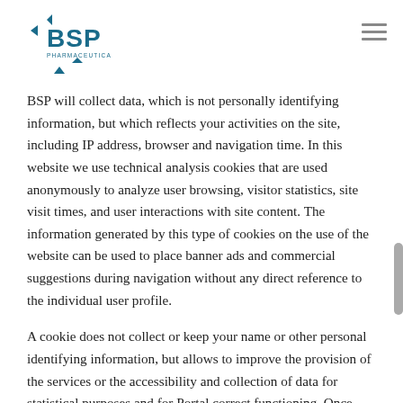BSP Pharmaceuticals logo and navigation
BSP will collect data, which is not personally identifying information, but which reflects your activities on the site, including IP address, browser and navigation time. In this website we use technical analysis cookies that are used anonymously to analyze user browsing, visitor statistics, site visit times, and user interactions with site content. The information generated by this type of cookies on the use of the website can be used to place banner ads and commercial suggestions during navigation without any direct reference to the individual user profile.
A cookie does not collect or keep your name or other personal identifying information, but allows to improve the provision of the services or the accessibility and collection of data for statistical purposes and for Portal correct functioning. Once processed the abovementioned data are immediately deleted.
The user may at any time and for any reason want to disable or